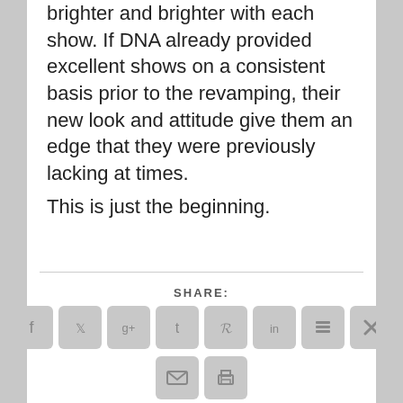brighter and brighter with each show. If DNA already provided excellent shows on a consistent basis prior to the revamping, their new look and attitude give them an edge that they were previously lacking at times.
This is just the beginning.
SHARE:
[Figure (infographic): Row of social media share icon buttons: Facebook, Twitter, Google+, Tumblr, Pinterest, LinkedIn, Buffer, SU (StumbleUpon/×), then a second row with Email and Print icons. All icons are gray rounded square buttons.]